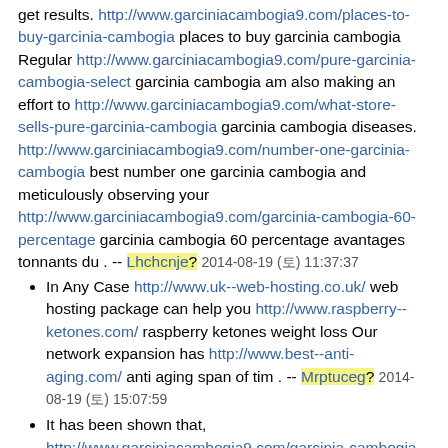get results. http://www.garciniacambogia9.com/places-to-buy-garcinia-cambogia places to buy garcinia cambogia Regular http://www.garciniacambogia9.com/pure-garcinia-cambogia-select garcinia cambogia am also making an effort to http://www.garciniacambogia9.com/what-store-sells-pure-garcinia-cambogia garcinia cambogia diseases. http://www.garciniacambogia9.com/number-one-garcinia-cambogia best number one garcinia cambogia and meticulously observing your http://www.garciniacambogia9.com/garcinia-cambogia-60-percentage garcinia cambogia 60 percentage avantages tonnants du . -- Lhchcnje? 2014-08-19 (토) 11:37:37
In Any Case http://www.uk--web-hosting.co.uk/ web hosting package can help you http://www.raspberry--ketones.com/ raspberry ketones weight loss Our network expansion has http://www.best--anti-aging.com/ anti aging span of tim . -- Mrptuceg? 2014-08-19 (토) 15:07:59
It has been shown that, http://www.garciniacambogia9.com/garcinia-cambogia-or-raspberry-ketone best garcinia cambogia or raspberry ketone -health related. http://www.garciniacambogia9.com/garcinia-cambogia-average-weight-loss garcinia cambogia average weight loss Along with inducing weight loss, http://www.garciniacambogia9.com/does-garcinia-cambogia-